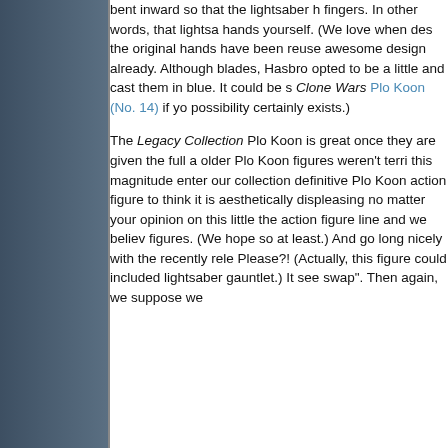[Figure (photo): Dark blue-grey toned left panel, likely showing a partial image of a Star Wars figure or background. Left sidebar column.]
bent inward so that the lightsaber h fingers. In other words, that lightsa hands yourself. (We love when des the original hands have been reuse awesome design already. Although blades, Hasbro opted to be a little and cast them in blue. It could be s Clone Wars Plo Koon (No. 14) if yo possibility certainly exists.)

The Legacy Collection Plo Koon is great once they are given the full a older Plo Koon figures weren't terri this magnitude enter our collection definitive Plo Koon action figure to think it is aesthetically displeasing no matter your opinion on this little the action figure line and we believ figures. (We hope so at least.) And go long nicely with the recently rele Please?! (Actually, this figure could included lightsaber gauntlet.) It see swap". Then again, we suppose we